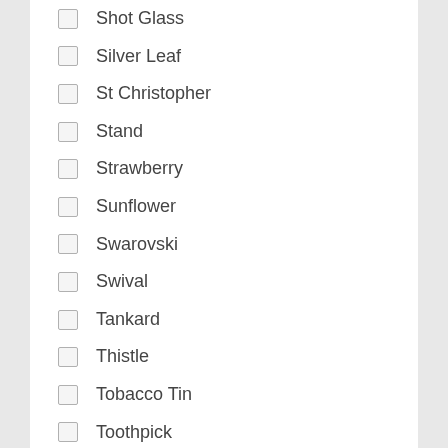Shot Glass
Silver Leaf
St Christopher
Stand
Strawberry
Sunflower
Swarovski
Swival
Tankard
Thistle
Tobacco Tin
Toothpick
Toothpick Holder